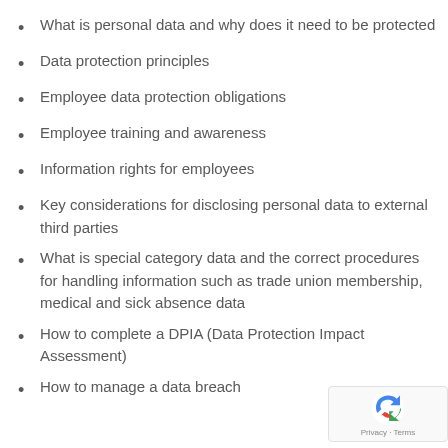What is personal data and why does it need to be protected
Data protection principles
Employee data protection obligations
Employee training and awareness
Information rights for employees
Key considerations for disclosing personal data to external third parties
What is special category data and the correct procedures for handling information such as trade union membership, medical and sick absence data
How to complete a DPIA (Data Protection Impact Assessment)
How to manage a data breach